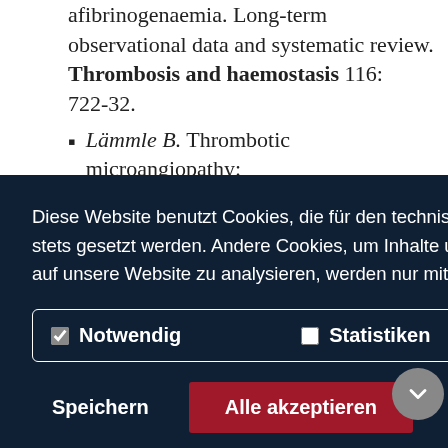afibrinogenaemia. Long-term observational data and systematic review. Thrombosis and haemostasis 116: 722–32.
Lämmle B. Thrombotic microangiopathy: ...
Diese Website benutzt Cookies, die für den technischen Betrieb der Website erforderlich sind und stets gesetzt werden. Andere Cookies, um Inhalte und Anzeigen zu personalisieren und die Zugriffe auf unsere Website zu analysieren, werden nur mit Ihrer Zustimmung gesetzt.  Mehr Infos
Notwendig | Statistiken
Speichern | Alle akzeptieren